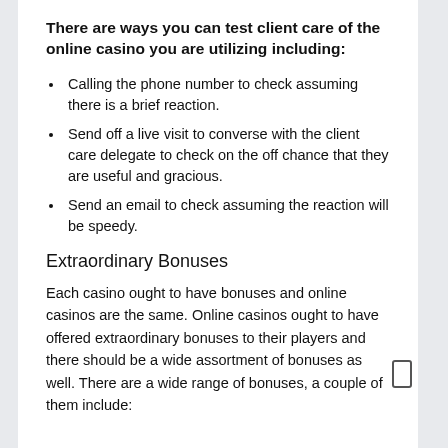There are ways you can test client care of the online casino you are utilizing including:
Calling the phone number to check assuming there is a brief reaction.
Send off a live visit to converse with the client care delegate to check on the off chance that they are useful and gracious.
Send an email to check assuming the reaction will be speedy.
Extraordinary Bonuses
Each casino ought to have bonuses and online casinos are the same. Online casinos ought to have offered extraordinary bonuses to their players and there should be a wide assortment of bonuses as well. There are a wide range of bonuses, a couple of them include: